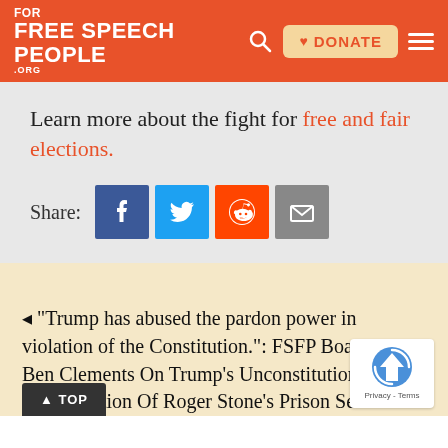Free Speech For People .org
Learn more about the fight for free and fair elections.
[Figure (infographic): Share buttons row: Share label followed by Facebook (blue), Twitter (light blue), Reddit (orange-red), and Email (gray) social sharing icons.]
◂ "Trump has abused the pardon power in violation of the Constitution.": FSFP Board Chair Ben Clements On Trump's Unconstitutional Commutation Of Roger Stone's Prison Sentence.